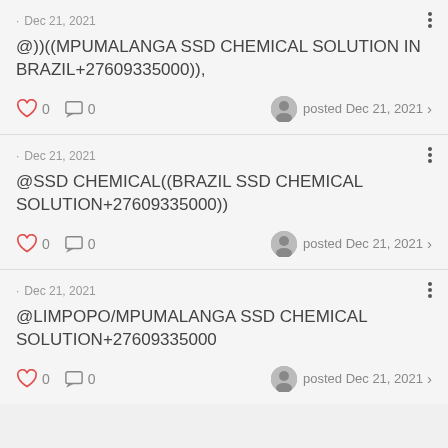· Dec 21, 2021
@))((MPUMALANGA SSD CHEMICAL SOLUTION IN BRAZIL+27609335000)),
0  0  posted Dec 21, 2021
· Dec 21, 2021
@SSD CHEMICAL((BRAZIL SSD CHEMICAL SOLUTION+27609335000))
0  0  posted Dec 21, 2021
· Dec 21, 2021
@LIMPOPO/MPUMALANGA SSD CHEMICAL SOLUTION+27609335000
0  0  posted Dec 21, 2021